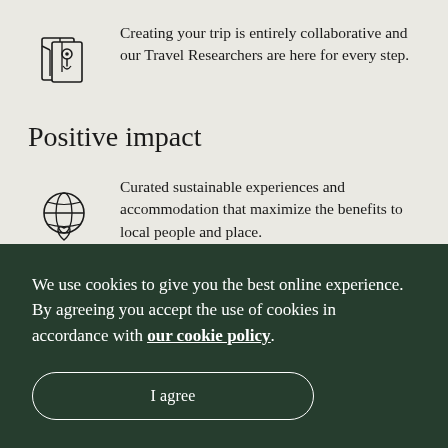[Figure (illustration): Line art icon of a map with a location pin]
Creating your trip is entirely collaborative and our Travel Researchers are here for every step.
Positive impact
[Figure (illustration): Line art icon of a globe with a heart/location pin at the bottom]
Curated sustainable experiences and accommodation that maximize the benefits to local people and place.
We use cookies to give you the best online experience. By agreeing you accept the use of cookies in accordance with our cookie policy.
I agree